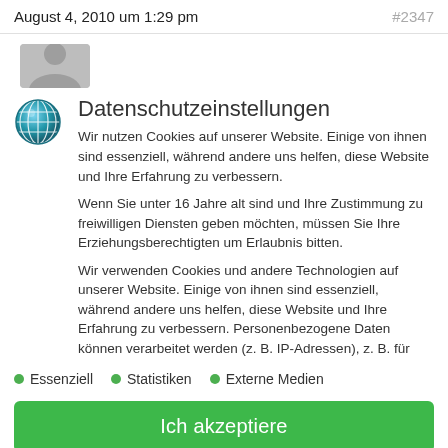August 4, 2010 um 1:29 pm   #2347
[Figure (illustration): Grey user avatar placeholder silhouette]
[Figure (illustration): Globe/settings icon with blue sphere and white grid lines]
Datenschutzeinstellungen
Wir nutzen Cookies auf unserer Website. Einige von ihnen sind essenziell, während andere uns helfen, diese Website und Ihre Erfahrung zu verbessern.
Wenn Sie unter 16 Jahre alt sind und Ihre Zustimmung zu freiwilligen Diensten geben möchten, müssen Sie Ihre Erziehungsberechtigten um Erlaubnis bitten.
Wir verwenden Cookies und andere Technologien auf unserer Website. Einige von ihnen sind essenziell, während andere uns helfen, diese Website und Ihre Erfahrung zu verbessern. Personenbezogene Daten können verarbeitet werden (z. B. IP-Adressen), z. B. für
Essenziell
Statistiken
Externe Medien
Ich akzeptiere